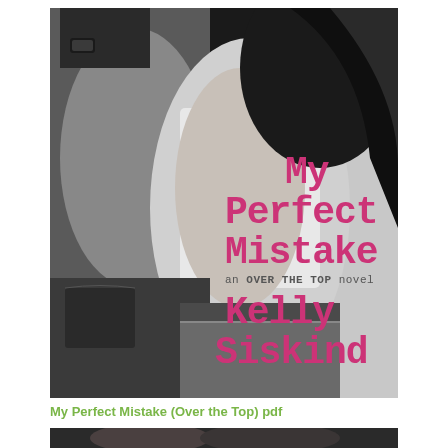[Figure (photo): Book cover of 'My Perfect Mistake' by Kelly Siskind. Black and white photo of two people embracing, with pink typewriter-font text reading 'My Perfect Mistake an OVER THE TOP novel Kelly Siskind']
My Perfect Mistake (Over the Top) pdf
[Figure (photo): Partial view of a second book cover showing two people, cut off at the bottom of the page]